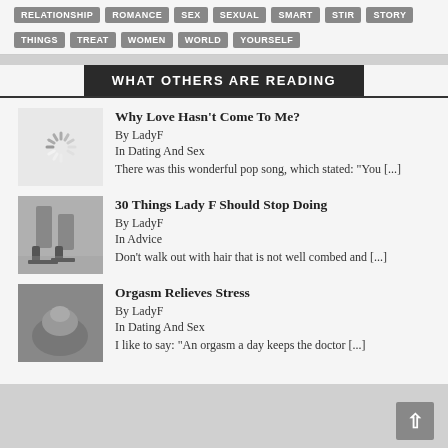RELATIONSHIP ROMANCE SEX SEXUAL SMART STIR STORY
THINGS TREAT WOMEN WORLD YOURSELF
WHAT OTHERS ARE READING
Why Love Hasn't Come To Me?
By LadyF
In Dating And Sex
There was this wonderful pop song, which stated: "You [...]
30 Things Lady F Should Stop Doing
By LadyF
In Advice
Don't walk out with hair that is not well combed and [...]
Orgasm Relieves Stress
By LadyF
In Dating And Sex
I like to say: "An orgasm a day keeps the doctor [...]